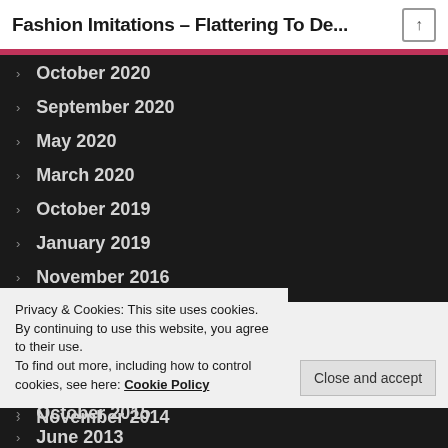Fashion Imitations – Flattering To De...
October 2020
September 2020
May 2020
March 2020
October 2019
January 2019
November 2016
February 2016
December 2015
November 2015
October 2015
November 2014
Privacy & Cookies: This site uses cookies. By continuing to use this website, you agree to their use.
To find out more, including how to control cookies, see here: Cookie Policy
June 2013
May 2013